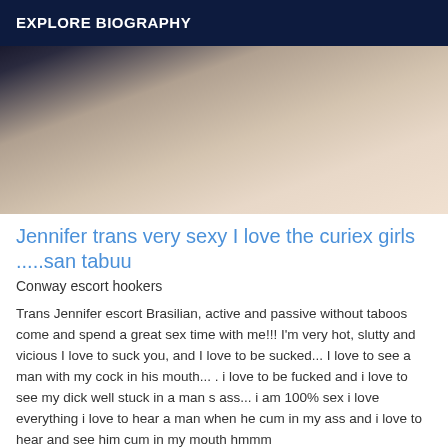EXPLORE BIOGRAPHY
[Figure (photo): Close-up photo showing skin and background surface, partially cropped]
Jennifer trans very sexy I love the curiex girls .....san tabuu
Conway escort hookers
Trans Jennifer escort Brasilian, active and passive without taboos come and spend a great sex time with me!!! I'm very hot, slutty and vicious I love to suck you, and I love to be sucked... I love to see a man with my cock in his mouth... . i love to be fucked and i love to see my dick well stuck in a man s ass... i am 100% sex i love everything i love to hear a man when he cum in my ass and i love to hear and see him cum in my mouth hmmm